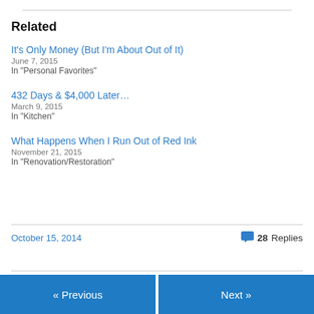Related
It's Only Money (But I'm About Out of It)
June 7, 2015
In "Personal Favorites"
432 Days & $4,000 Later…
March 9, 2015
In "Kitchen"
What Happens When I Run Out of Red Ink
November 21, 2015
In "Renovation/Restoration"
October 15, 2014
28 Replies
« Previous
Next »